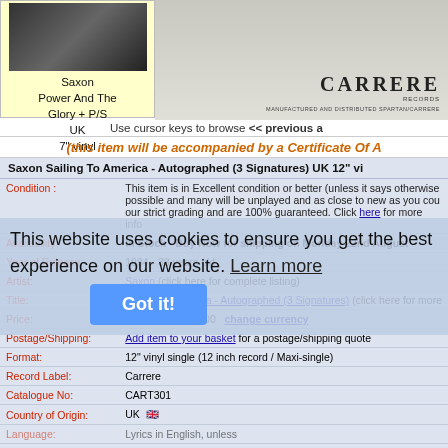[Figure (photo): Album thumbnail showing Saxon Power And The Glory + P/S UK 7 inch vinyl on yellow background]
[Figure (photo): Carrere Records label image showing CARRERE RECORDS text and MANUFACTURED AND DISTRIBUTED BY SPARTAN/CARRERE text]
Use cursor keys to browse << previous a
(this item will be accompanied by a Certificate Of A
Saxon Sailing To America - Autographed (3 Signatures) UK 12" vi
| Field | Value |
| --- | --- |
| Condition : | This item is in Excellent condition or better (unless it says otherwise possible and many will be unplayed and as close to new as you cou our strict grading and are 100% guaranteed. Click here for more info |
| Availability: | In Stock - Buy Now for shipping on Monday 22nd August |
| Year of Release: | 1984 - 38 years old |
| Artist: | Saxon (click here for complete listing) |
| Title: | Sailing To America - Autographed (3 Signatures) (click here for more |
| Price: | £ 50.00, US$ 60.00   change currency |
| Postage/Shipping: | Add item to your basket for a postage/shipping quote |
| Format: | 12" vinyl single (12 inch record / Maxi-single) |
| Record Label: | Carrere |
| Catalogue No: | CART301 |
| Country of Origin: | UK |
| Language: | Lyrics in English, unless |
| Additional info: | Deleted |
| EIL COLLECTION No: | SAX129A750813 (quote this reference in any e-mails, letters, faxes |
| Genres: | Heavy Metal, NWOBHM, Rock |
| Related Artists: | Biff Byford, Graham Oliver, Oliver Dawson Saxon |
| Complete Stock List: | Saxon |
| email: | sales@eil.com to contact our sales team. |
| Alternative Names: | None |